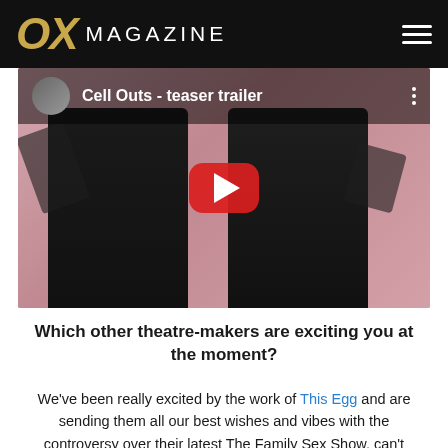OX MAGAZINE
[Figure (screenshot): YouTube video thumbnail showing two women in matching black military-style jackets with silver shoulder epaulettes, against a pink background. The video title reads 'Cell Outs - teaser trailer'. A red YouTube play button is visible in the center.]
Which other theatre-makers are exciting you at the moment?
We've been really excited by the work of This Egg and are sending them all our best wishes and vibes with the controversy over their latest The Family Sex Show, can't wait to see it when it heads to Theatro...